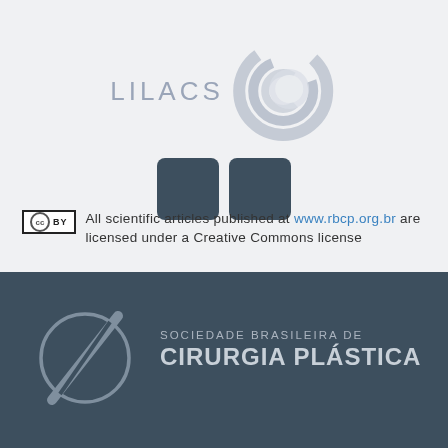[Figure (logo): LILACS logo with swirling circular graphic in light blue-grey]
[Figure (other): Two dark rounded squares side by side]
All scientific articles published at www.rbcp.org.br are licensed under a Creative Commons license
[Figure (logo): Sociedade Brasileira de Cirurgia Plastica logo with circle and diagonal line mark, dark blue-grey background]